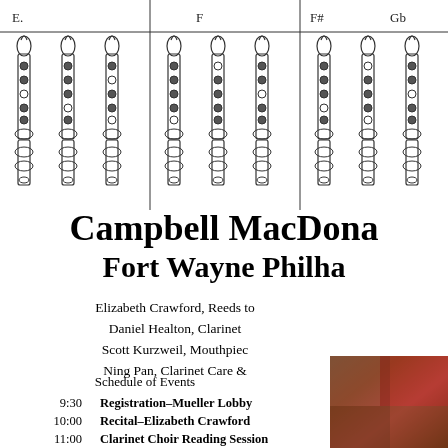[Figure (schematic): Clarinet fingering chart showing multiple clarinet diagrams with note labels (E, F, F#, Gb) across top, with keys and hole positions illustrated in black and white line drawing style]
Campbell MacDona
Fort Wayne Philha
Elizabeth Crawford, Reeds to
Daniel Healton, Clarinet
Scott Kurzweil, Mouthpiec
Ning Pan, Clarinet Care &
Schedule of Events
9:30	Registration–Mueller Lobby
10:00	Recital–Elizabeth Crawford
11:00	Clarinet Choir Reading Session
[Figure (photo): Partial photograph showing what appears to be a close-up of a clarinet or reed instrument in warm reddish-brown tones]